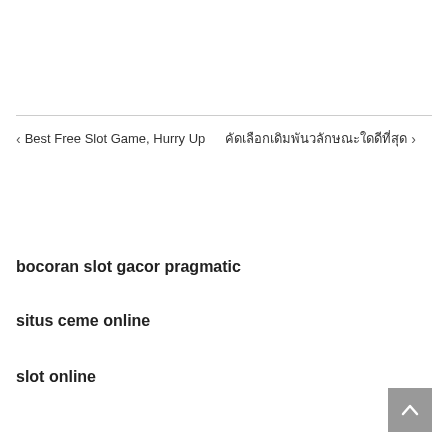‹ Best Free Slot Game, Hurry Up   [Thai text] ›
bocoran slot gacor pragmatic
situs ceme online
slot online